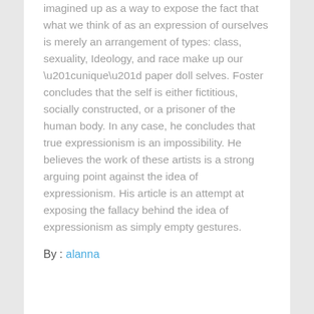imagined up as a way to expose the fact that what we think of as an expression of ourselves is merely an arrangement of types: class, sexuality, Ideology, and race make up our “unique” paper doll selves. Foster concludes that the self is either fictitious, socially constructed, or a prisoner of the human body. In any case, he concludes that true expressionism is an impossibility. He believes the work of these artists is a strong arguing point against the idea of expressionism. His article is an attempt at exposing the fallacy behind the idea of expressionism as simply empty gestures.
By : alanna